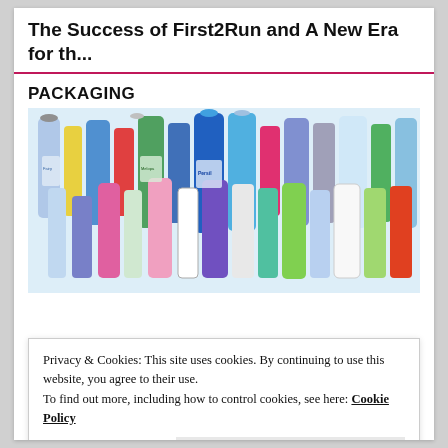The Success of First2Run and A New Era for th...
PACKAGING
[Figure (photo): A large collection of household cleaning and laundry product bottles in various colors (blue, white, pink, green, yellow), including brands such as Persil, Fairy, Ariel, and others, displayed together.]
Privacy & Cookies: This site uses cookies. By continuing to use this website, you agree to their use.
To find out more, including how to control cookies, see here: Cookie Policy
Close and accept
BIOPLASTICS BRANDS
[Figure (photo): A strip of brand logos including Apple, Google, Amazon, Microsoft, Coca-Cola, Samsung, Toyota, and Mercedes-Benz.]